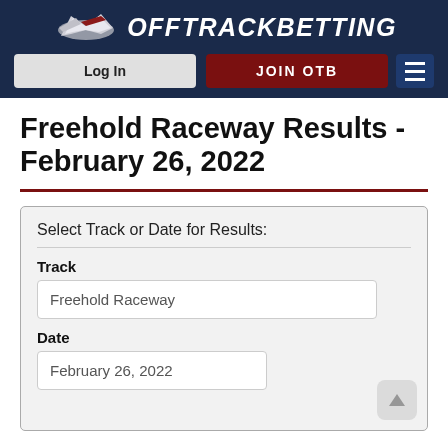OffTrackBetting — Log In | JOIN OTB
Freehold Raceway Results - February 26, 2022
Select Track or Date for Results:
Track
Freehold Raceway
Date
February 26, 2022